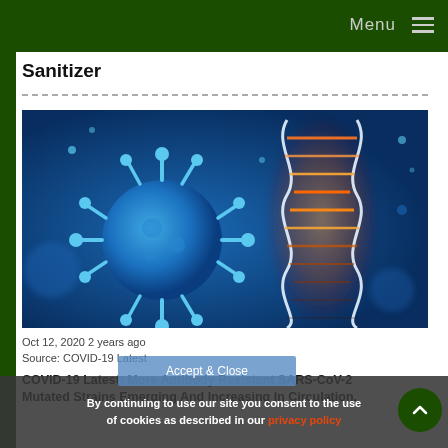Menu
Sanitizer
[Figure (photo): Digital illustration of a coronavirus particle (blue spiky sphere) alongside a DNA double helix structure with orange/red glow, set against a blue background]
Oct 12, 2020  2 years ago
Source: COVID-19 Latest
COVID-19 Latest: More Antibody Resistant SARS-CoV-2 Mutated Strains Emerging And Increasing In Circulation.
By continuing to use our site you consent to the use of cookies as described in our privacy policy